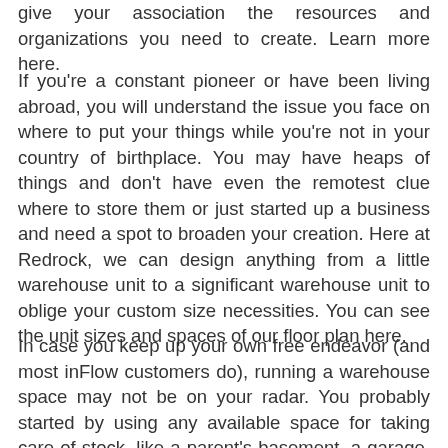give your association the resources and organizations you need to create. Learn more here.
If you're a constant pioneer or have been living abroad, you will understand the issue you face on where to put your things while you're not in your country of birthplace. You may have heaps of things and don't have even the remotest clue where to store them or just started up a business and need a spot to broaden your creation. Here at Redrock, we can design anything from a little warehouse unit to a significant warehouse unit to oblige your custom size necessities. You can see the unit sizes and spaces of our floor plan here.
In case you keep up your own free endeavor (and most inFlow customers do), running a warehouse space may not be on your radar. You probably started by using any available space for taking care of stock, like a parent's basement, a garage, or even your own home.